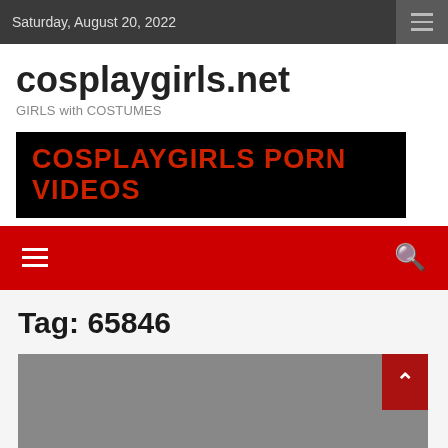Saturday, August 20, 2022
cosplaygirls.net
GIRLS with COSTUMES
[Figure (other): Banner advertisement with black background and orange-red text reading COSPLAYGIRLS PORN VIDEOS]
Tag: 65846
[Figure (photo): Gray placeholder image with a dark red scroll-to-top arrow button in the top right corner]